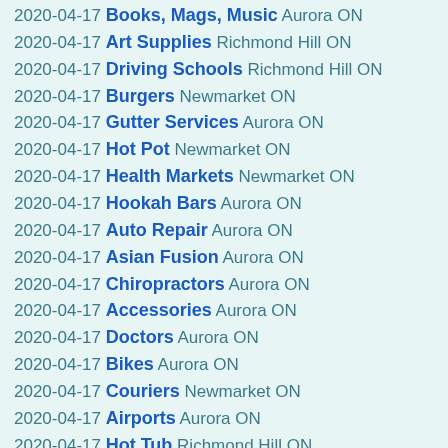2020-04-17 Books, Mags, Music Aurora ON
2020-04-17 Art Supplies Richmond Hill ON
2020-04-17 Driving Schools Richmond Hill ON
2020-04-17 Burgers Newmarket ON
2020-04-17 Gutter Services Aurora ON
2020-04-17 Hot Pot Newmarket ON
2020-04-17 Health Markets Newmarket ON
2020-04-17 Hookah Bars Aurora ON
2020-04-17 Auto Repair Aurora ON
2020-04-17 Asian Fusion Aurora ON
2020-04-17 Chiropractors Aurora ON
2020-04-17 Accessories Aurora ON
2020-04-17 Doctors Aurora ON
2020-04-17 Bikes Aurora ON
2020-04-17 Couriers Newmarket ON
2020-04-17 Airports Aurora ON
2020-04-17 Hot Tub Richmond Hill ON
2020-04-17 Gas Stations Aurora ON
2020-04-17 Banks Aurora ON
2020-04-17 Divorce Aurora ON
2020-04-17 American (Traditional) Aurora ON
2020-04-17 Cafes Aurora ON